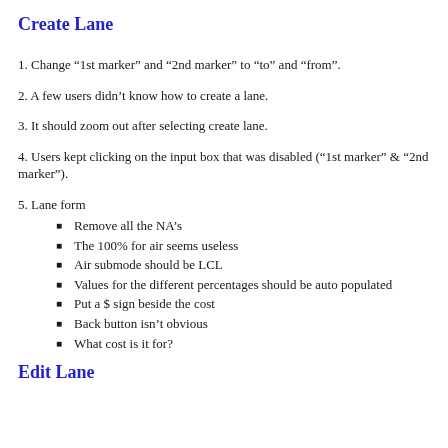Create Lane
1. Change “1st marker” and “2nd marker” to “to” and “from”.
2. A few users didn’t know how to create a lane.
3. It should zoom out after selecting create lane.
4. Users kept clicking on the input box that was disabled (“1st marker” & “2nd marker”).
5. Lane form
Remove all the NA’s
The 100% for air seems useless
Air submode should be LCL
Values for the different percentages should be auto populated
Put a $ sign beside the cost
Back button isn’t obvious
What cost is it for?
Edit Lane